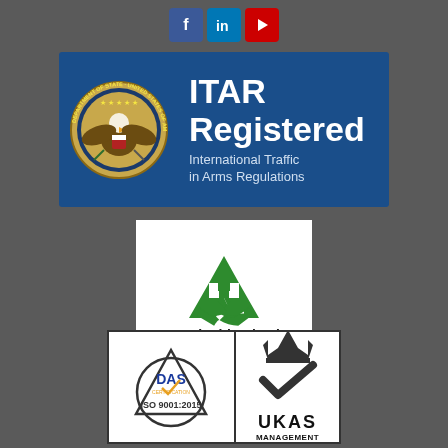[Figure (logo): Social media icons: Facebook (blue), LinkedIn (blue), YouTube (red)]
[Figure (logo): ITAR Registered badge with US Department of State seal. Text: ITAR Registered, International Traffic in Arms Regulations]
[Figure (logo): Sustainable Plastic logo with green recycling symbol on white background. Text: Sustainable Plastic]
[Figure (logo): ISO 9001:2015 certification logo with DAS Certification mark inside triangle/circle, alongside UKAS Management Systems logo with crown and checkmark]